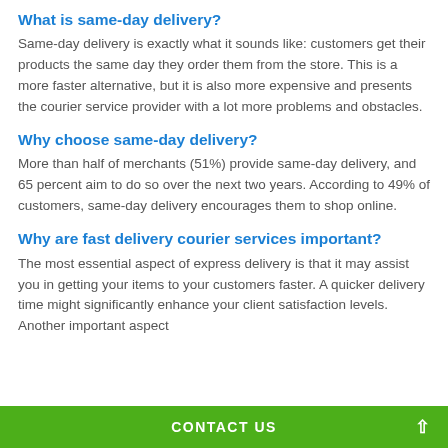What is same-day delivery?
Same-day delivery is exactly what it sounds like: customers get their products the same day they order them from the store. This is a more faster alternative, but it is also more expensive and presents the courier service provider with a lot more problems and obstacles.
Why choose same-day delivery?
More than half of merchants (51%) provide same-day delivery, and 65 percent aim to do so over the next two years. According to 49% of customers, same-day delivery encourages them to shop online.
Why are fast delivery courier services important?
The most essential aspect of express delivery is that it may assist you in getting your items to your customers faster. A quicker delivery time might significantly enhance your client satisfaction levels. Another important aspect
CONTACT US